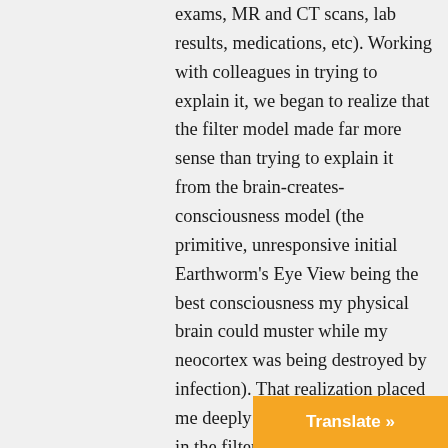exams, MR and CT scans, lab results, medications, etc). Working with colleagues in trying to explain it, we began to realize that the filter model made far more sense than trying to explain it from the brain-creates-consciousness model (the primitive, unresponsive initial Earthworm's Eye View being the best consciousness my physical brain could muster while my neocortex was being destroyed by infection). That realization placed me deeply into seeing advantages in the filter model. My extensive reading of